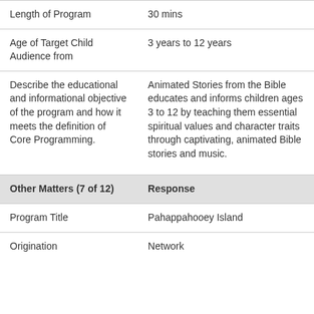| Length of Program | 30 mins |
| Age of Target Child Audience from | 3 years to 12 years |
| Describe the educational and informational objective of the program and how it meets the definition of Core Programming. | Animated Stories from the Bible educates and informs children ages 3 to 12 by teaching them essential spiritual values and character traits through captivating, animated Bible stories and music. |
| Other Matters (7 of 12) | Response |
| --- | --- |
| Program Title | Pahappahooey Island |
| Origination | Network |